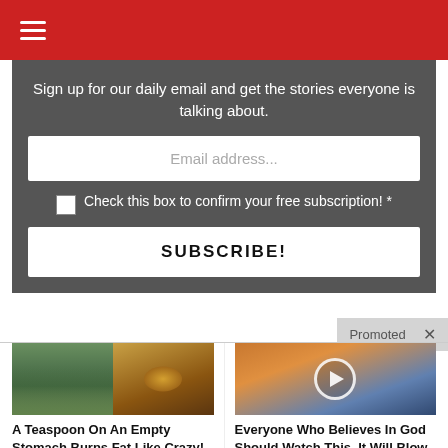☰
Sign up for our daily email and get the stories everyone is talking about.
Email address...
Check this box to confirm your free subscription! *
SUBSCRIBE!
Promoted ×
[Figure (photo): Woman with toned stomach on left, bowl of yellow spice powder on right]
A Teaspoon On An Empty Stomach Burns Fat Like Crazy!
🔥 99,980
[Figure (photo): Dramatic sky with sunbeams, video play button overlay]
Everyone Who Believes In God Should Watch This. It Will Blow Your Mind
🔥 64,399